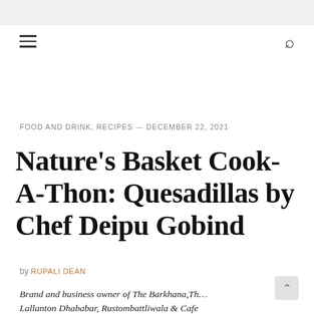FOOD AND DRINK, RECIPES — DECEMBER 22, 2021
Nature's Basket Cook-A-Thon: Quesadillas by Chef Deipu Gobind
by RUPALI DEAN
Brand and business owner of The Barkhana, The Lallanton Dhababar, Rustombattliwala & Cafe